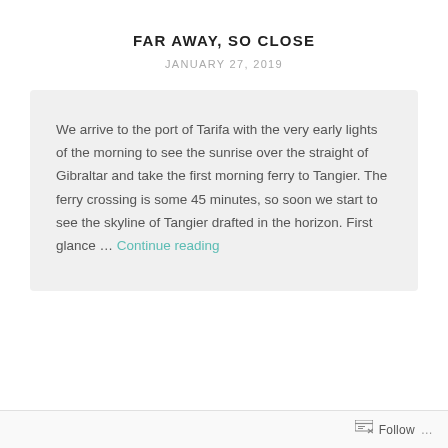FAR AWAY, SO CLOSE
JANUARY 27, 2019
We arrive to the port of Tarifa with the very early lights of the morning to see the sunrise over the straight of Gibraltar and take the first morning ferry to Tangier. The ferry crossing is some 45 minutes, so soon we start to see the skyline of Tangier drafted in the horizon. First glance … Continue reading
Follow …